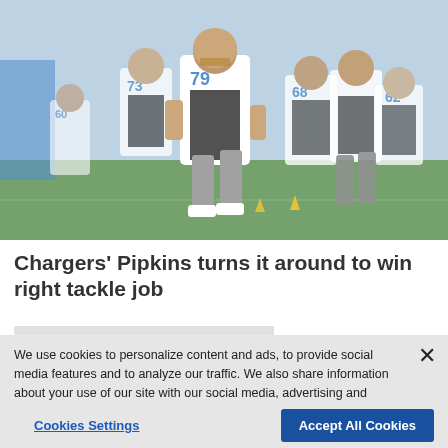[Figure (photo): Football players in white jerseys with numbers 73, 79, 68, 62 and others running drills on a green practice field. Players wearing Chargers uniforms during training camp.]
Chargers' Pipkins turns it around to win right tackle job
We use cookies to personalize content and ads, to provide social media features and to analyze our traffic. We also share information about your use of our site with our social media, advertising and analytics partners. Privacy Policy
Cookies Settings   Accept All Cookies